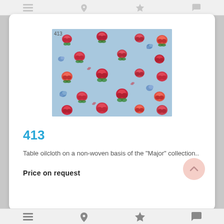[Figure (photo): Floral fabric pattern on light blue background showing red and pink roses with green leaves — product item 413]
413
Table oilcloth on a non-woven basis of the "Major" collection..
Price on request